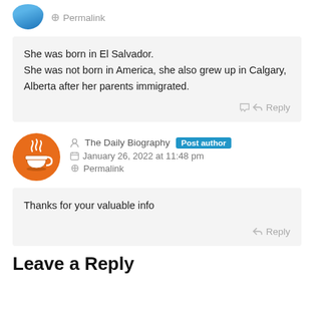Permalink
She was born in El Salvador.
She was not born in America, she also grew up in Calgary, Alberta after her parents immigrated.
Reply
The Daily Biography  Post author
January 26, 2022 at 11:48 pm
Permalink
Thanks for your valuable info
Reply
Leave a Reply